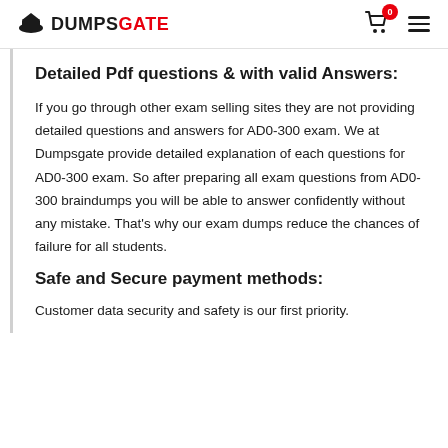DUMPSGATE
Detailed Pdf questions & with valid Answers:
If you go through other exam selling sites they are not providing detailed questions and answers for AD0-300 exam. We at Dumpsgate provide detailed explanation of each questions for AD0-300 exam. So after preparing all exam questions from AD0-300 braindumps you will be able to answer confidently without any mistake. That's why our exam dumps reduce the chances of failure for all students.
Safe and Secure payment methods:
Customer data security and safety is our first priority.